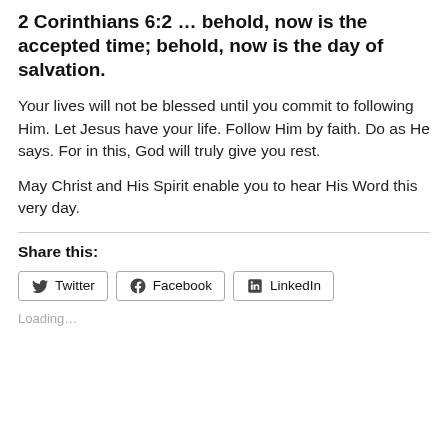2 Corinthians 6:2 … behold, now is the accepted time; behold, now is the day of salvation.
Your lives will not be blessed until you commit to following Him. Let Jesus have your life. Follow Him by faith. Do as He says. For in this, God will truly give you rest.
May Christ and His Spirit enable you to hear His Word this very day.
Share this:
Twitter  Facebook  LinkedIn
Loading…